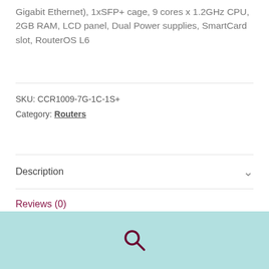Gigabit Ethernet), 1xSFP+ cage, 9 cores x 1.2GHz CPU, 2GB RAM, LCD panel, Dual Power supplies, SmartCard slot, RouterOS L6
SKU: CCR1009-7G-1C-1S+
Category: Routers
Description
Reviews (0)